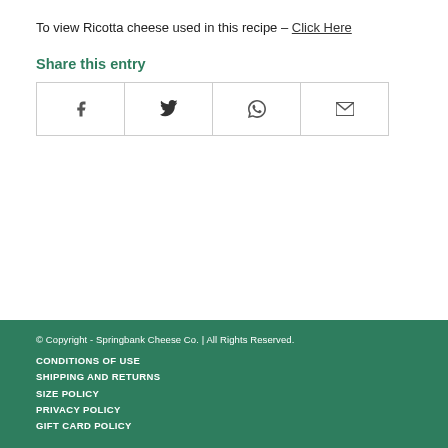To view Ricotta cheese used in this recipe – Click Here
Share this entry
[Figure (other): Social share buttons grid with Facebook, Twitter, WhatsApp, and Email icons]
© Copyright - Springbank Cheese Co. | All Rights Reserved. CONDITIONS OF USE SHIPPING AND RETURNS SIZE POLICY PRIVACY POLICY GIFT CARD POLICY